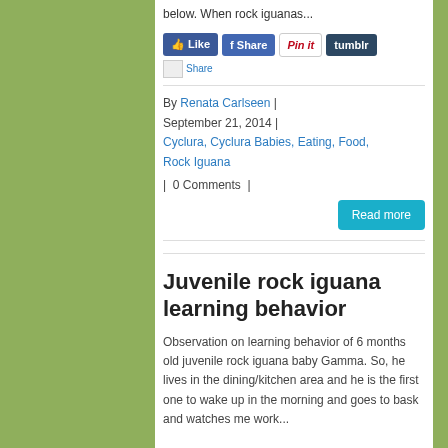below. When rock iguanas...
[Figure (screenshot): Social sharing buttons: Like (Facebook), Share (Facebook), Pin it (Pinterest), tumblr, and a Share link with image placeholder]
By Renata Carlseen  |  September 21, 2014  |  Cyclura, Cyclura Babies, Eating, Food, Rock Iguana
|  0 Comments  |
Read more
Juvenile rock iguana learning behavior
Observation on learning behavior of 6 months old juvenile rock iguana baby Gamma. So, he lives in the dining/kitchen area and he is the first one to wake up in the morning and goes to bask and watches me work...